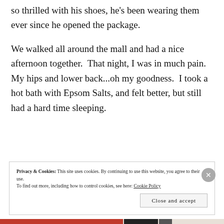so thrilled with his shoes, he's been wearing them ever since he opened the package.
We walked all around the mall and had a nice afternoon together.  That night, I was in much pain.  My hips and lower back...oh my goodness.  I took a hot bath with Epsom Salts, and felt better, but still had a hard time sleeping.
Privacy & Cookies: This site uses cookies. By continuing to use this website, you agree to their use. To find out more, including how to control cookies, see here: Cookie Policy
Close and accept